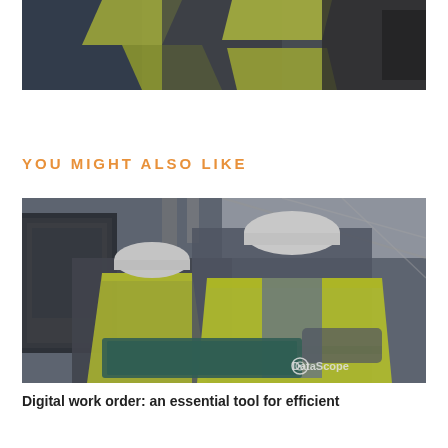[Figure (photo): Partial view of workers in high-visibility yellow vests, cropped at top of page, dark/muted tones]
YOU MIGHT ALSO LIKE
[Figure (photo): Two workers in white hard hats and yellow high-visibility vests looking at a laptop in an industrial facility. DataScope logo watermark visible.]
Digital work order: an essential tool for efficient